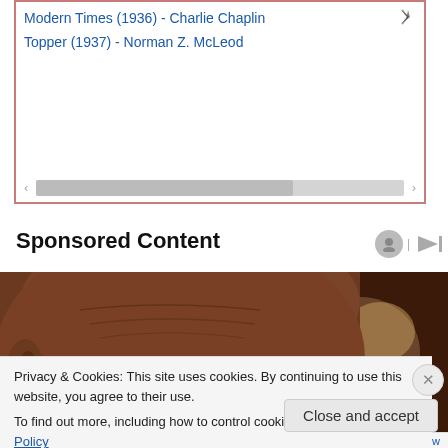[Figure (screenshot): A listbox UI element with a red border containing two list items: 'Modern Times (1936) - Charlie Chaplin' and 'Topper (1937) - Norman Z. McLeod', with a horizontal scrollbar at the bottom.]
Sponsored Content
[Figure (photo): Close-up photograph of an elderly person's face, showing forehead wrinkles and eyes, dark brown skin, with a blurred dark background.]
Privacy & Cookies: This site uses cookies. By continuing to use this website, you agree to their use.
To find out more, including how to control cookies, see here: Cookie Policy